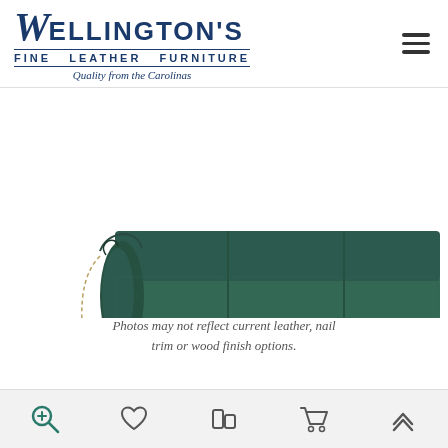[Figure (logo): Wellington's Fine Leather Furniture logo with tagline 'Quality from the Carolinas']
[Figure (photo): Close-up of dark teal/green leather sofa with nail trim detail and bun feet, showing three seat cushions and rolled arm]
Photos may not reflect current leather, nail trim or wood finish options.
DOUBLE PILLOW BACK LEATHER SOFA
[Figure (other): Bottom toolbar with icons: zoom/search, heart/wishlist, compare, shopping cart, scroll-to-top]